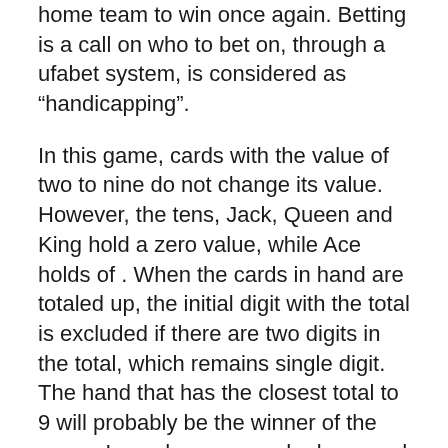home team to win once again. Betting is a call on who to bet on, through a ufabet system, is considered as “handicapping”.
In this game, cards with the value of two to nine do not change its value. However, the tens, Jack, Queen and King hold a zero value, while Ace holds of . When the cards in hand are totaled up, the initial digit with the total is excluded if there are two digits in the total, which remains single digit. The hand that has the closest total to 9 will probably be the winner of the game. In each game, each player and the banker will get three hands of two cards. UFABET bet while on the banker’s hand, the player’s hand, also known as a tie. Players tend to bet by the banker’s hand as the losses to your banker are less than to a